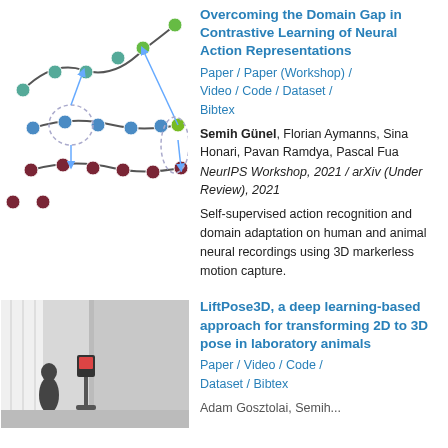[Figure (illustration): Graph/network diagram showing connected nodes in green, blue, and dark red/maroon colors with lines and arrows indicating connections between nodes arranged in three curved rows.]
Overcoming the Domain Gap in Contrastive Learning of Neural Action Representations
Paper / Paper (Workshop) / Video / Code / Dataset / Bibtex
Semih Günel, Florian Aymanns, Sina Honari, Pavan Ramdya, Pascal Fua
NeurIPS Workshop, 2021 / arXiv (Under Review), 2021
Self-supervised action recognition and domain adaptation on human and animal neural recordings using 3D markerless motion capture.
[Figure (photo): Photo of a laboratory setup with what appears to be a camera or recording device on a stand, with light coming through curtains or a window in the background.]
LiftPose3D, a deep learning-based approach for transforming 2D to 3D pose in laboratory animals
Paper / Video / Code / Dataset / Bibtex
Adam Gosztolai, Semih...